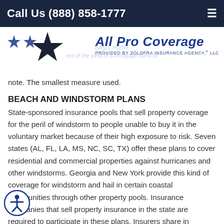Call Us (888) 858-1777
[Figure (logo): All Pro Coverage logo with stars, provided by Zolofra Insurance Agency, LLC. Overlaid watermark text about yield of a mortgage bond or note.]
note. The smallest measure used.
BEACH AND WINDSTORM PLANS
State-sponsored insurance pools that sell property coverage for the peril of windstorm to people unable to buy it in the voluntary market because of their high exposure to risk. Seven states (AL, FL, LA, MS, NC, SC, TX) offer these plans to cover residential and commercial properties against hurricanes and other windstorms. Georgia and New York provide this kind of coverage for windstorm and hail in certain coastal communities through other property pools. Insurance companies that sell property insurance in the state are required to participate in these plans. Insurers share in